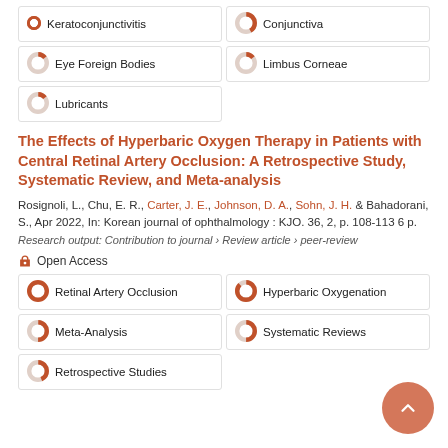Keratoconjunctivitis
Conjunctiva
Eye Foreign Bodies
Limbus Corneae
Lubricants
The Effects of Hyperbaric Oxygen Therapy in Patients with Central Retinal Artery Occlusion: A Retrospective Study, Systematic Review, and Meta-analysis
Rosignoli, L., Chu, E. R., Carter, J. E., Johnson, D. A., Sohn, J. H. & Bahadorani, S., Apr 2022, In: Korean journal of ophthalmology : KJO. 36, 2, p. 108-113 6 p.
Research output: Contribution to journal › Review article › peer-review
Open Access
Retinal Artery Occlusion
Hyperbaric Oxygenation
Meta-Analysis
Systematic Reviews
Retrospective Studies